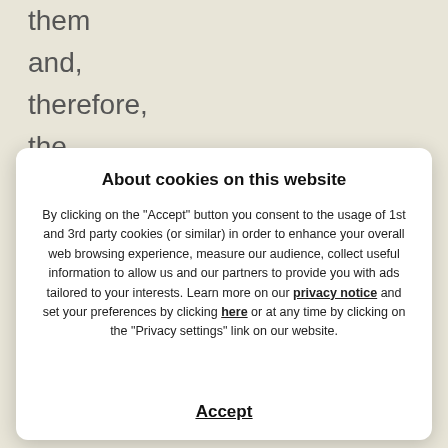them and, therefore, the excessive protein
About cookies on this website
By clicking on the "Accept" button you consent to the usage of 1st and 3rd party cookies (or similar) in order to enhance your overall web browsing experience, measure our audience, collect useful information to allow us and our partners to provide you with ads tailored to your interests. Learn more on our privacy notice and set your preferences by clicking here or at any time by clicking on the "Privacy settings" link on our website.
Accept